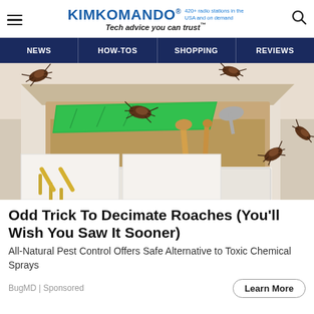KIMKOMANDO® 420+ radio stations in the USA and on demand — Tech advice you can trust™
[Figure (illustration): Illustration of cockroaches crawling on and inside an open kitchen drawer containing utensils and a green cutting board]
Odd Trick To Decimate Roaches (You'll Wish You Saw It Sooner)
All-Natural Pest Control Offers Safe Alternative to Toxic Chemical Sprays
BugMD | Sponsored